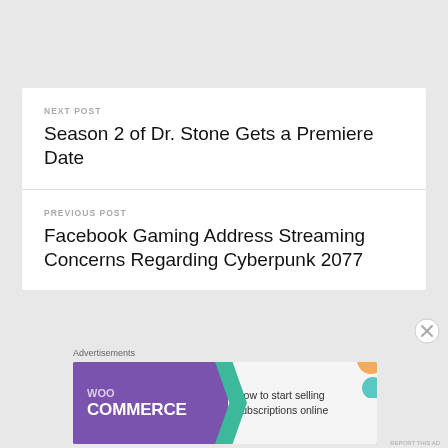NEXT POST
Season 2 of Dr. Stone Gets a Premiere Date
PREVIOUS POST
Facebook Gaming Address Streaming Concerns Regarding Cyberpunk 2077
Advertisements
[Figure (other): WooCommerce advertisement banner: 'How to start selling subscriptions online']